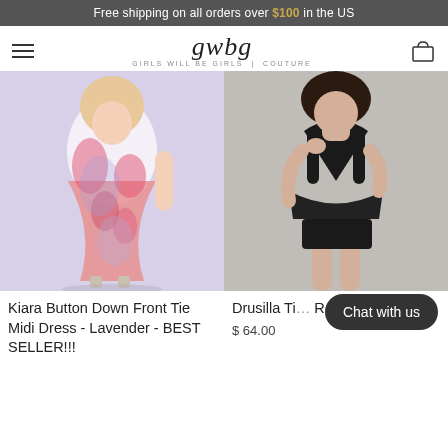Free shipping on all orders over $100 in the US
[Figure (logo): GWBG Girls Will Be Girls Couture logo with cursive script and hamburger menu and cart icon]
[Figure (photo): Woman wearing Kiara Button Down Front Tie Midi Dress in Lavender floral print]
[Figure (photo): Woman wearing Drusilla black deep-V peplum romper]
Kiara Button Down Front Tie Midi Dress - Lavender - BEST SELLER!!!
Drusilla Ti... Romper
$ 64.00
Chat with us